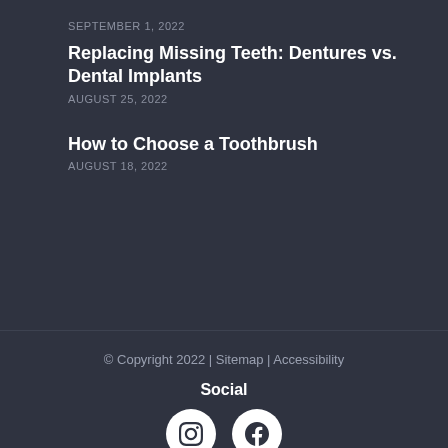SEPTEMBER 1, 2022
Replacing Missing Teeth: Dentures vs. Dental Implants
AUGUST 25, 2022
How to Choose a Toothbrush
AUGUST 18, 2022
© Copyright 2022 | Sitemap | Accessibility
Social